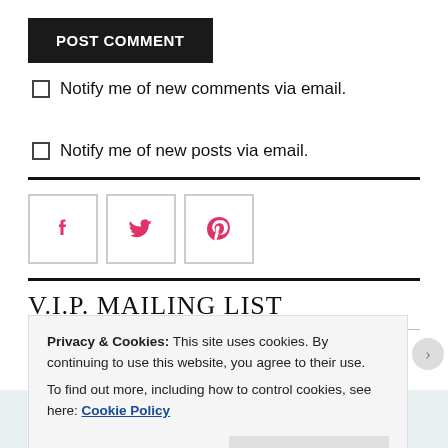POST COMMENT
Notify me of new comments via email.
Notify me of new posts via email.
[Figure (illustration): Social media icons: Facebook (f), Twitter (bird), Pinterest (P) each in a bordered square box]
V.I.P. MAILING LIST
Enter your email address to receive notifications of new content via
Privacy & Cookies: This site uses cookies. By continuing to use this website, you agree to their use.
To find out more, including how to control cookies, see here: Cookie Policy
Close and accept